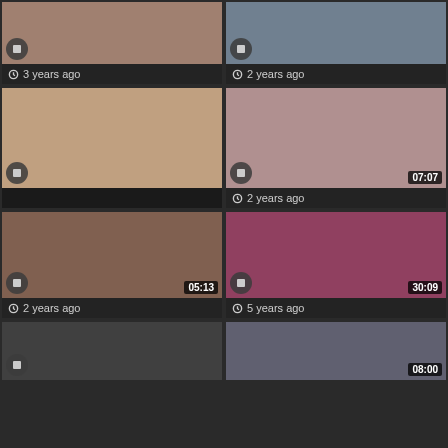[Figure (screenshot): Video thumbnail grid item 1 - 3 years ago, no duration badge]
[Figure (screenshot): Video thumbnail grid item 2 - 2 years ago, no duration badge, MegaCzechSwingers.com watermark]
[Figure (screenshot): Video thumbnail grid item 3 - no timestamp shown, large thumbnail]
[Figure (screenshot): Video thumbnail grid item 4 - 2 years ago, duration 07:07]
[Figure (screenshot): Video thumbnail grid item 5 - 2 years ago, duration 05:13]
[Figure (screenshot): Video thumbnail grid item 6 - 5 years ago, duration 30:09]
[Figure (screenshot): Video thumbnail grid item 7 - partial, bottom row left]
[Figure (screenshot): Video thumbnail grid item 8 - partial, bottom row right, duration 08:00]